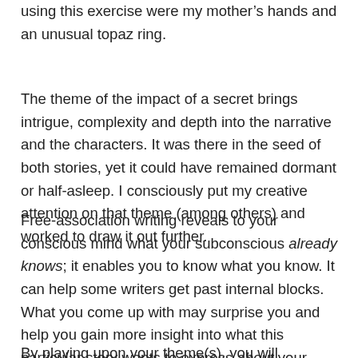using this exercise were my mother's hands and an unusual topaz ring.
The theme of the impact of a secret brings intrigue, complexity and depth into the narrative and the characters. It was there in the seed of both stories, yet it could have remained dormant or half-asleep. I consciously put my creative attention on that theme (among others) and worked to draw it out further.
Free-association writing reveals to your conscious mind what your subconscious already knows; it enables you to know what you know. It can help some writers get past internal blocks. What you come up with may surprise you and help you gain more insight into what this particular story wants to express about your themes through your metaphors.
By playing upon your theme(s), you will immediately